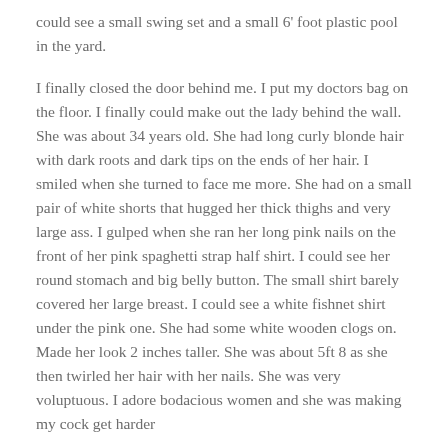could see a small swing set and a small 6' foot plastic pool in the yard.
I finally closed the door behind me. I put my doctors bag on the floor. I finally could make out the lady behind the wall. She was about 34 years old. She had long curly blonde hair with dark roots and dark tips on the ends of her hair. I smiled when she turned to face me more. She had on a small pair of white shorts that hugged her thick thighs and very large ass. I gulped when she ran her long pink nails on the front of her pink spaghetti strap half shirt. I could see her round stomach and big belly button. The small shirt barely covered her large breast. I could see a white fishnet shirt under the pink one. She had some white wooden clogs on. Made her look 2 inches taller. She was about 5ft 8 as she then twirled her hair with her nails. She was very voluptuous. I adore bodacious women and she was making my cock get harder
“Shelly! The doctor is here. Come on out.” said Mrs. Smith. I